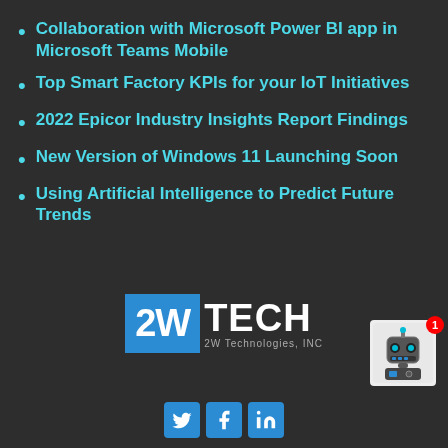Collaboration with Microsoft Power BI app in Microsoft Teams Mobile
Top Smart Factory KPIs for your IoT Initiatives
2022 Epicor Industry Insights Report Findings
New Version of Windows 11 Launching Soon
Using Artificial Intelligence to Predict Future Trends
[Figure (logo): 2WTECH logo — 2W Technologies, INC — with blue square background for 2W and white TECH text]
[Figure (infographic): Social media icons: Twitter, Facebook, LinkedIn in blue rounded squares]
[Figure (photo): Robot chatbot icon with red notification badge showing 1]